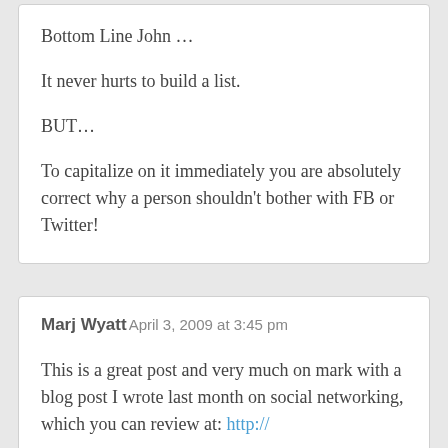Bottom Line John …
It never hurts to build a list.
BUT…
To capitalize on it immediately you are absolutely correct why a person shouldn't bother with FB or Twitter!
Marj Wyatt
April 3, 2009 at 3:45 pm
This is a great post and very much on mark with a blog post I wrote last month on social networking, which you can review at: http://